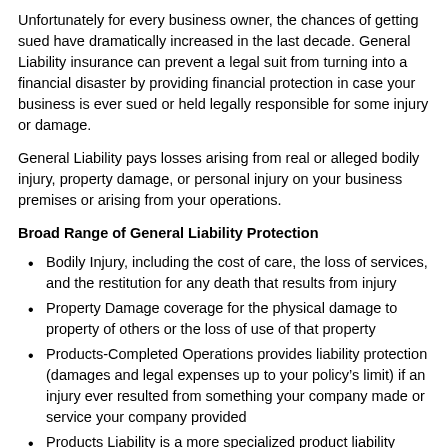Unfortunately for every business owner, the chances of getting sued have dramatically increased in the last decade. General Liability insurance can prevent a legal suit from turning into a financial disaster by providing financial protection in case your business is ever sued or held legally responsible for some injury or damage.
General Liability pays losses arising from real or alleged bodily injury, property damage, or personal injury on your business premises or arising from your operations.
Broad Range of General Liability Protection
Bodily Injury, including the cost of care, the loss of services, and the restitution for any death that results from injury
Property Damage coverage for the physical damage to property of others or the loss of use of that property
Products-Completed Operations provides liability protection (damages and legal expenses up to your policy’s limit) if an injury ever resulted from something your company made or service your company provided
Products Liability is a more specialized product liability insurance that protects your company against lawsuits from product-related injury or accidents
Contractual Liability extends to any liability you may assume by entering into a variety of contracts
Other coverage includes: Reasonable Use of Force; Borrowed Equipment; Liquor Liability; Non-Owned Vehicles (such as aircraft and watercraft); Fire, Lightning or Explosion Damage; Water Damage Liability Protection; Legal Defense Costs; Medical Payments; Personal Injury; Advertising Injury; and